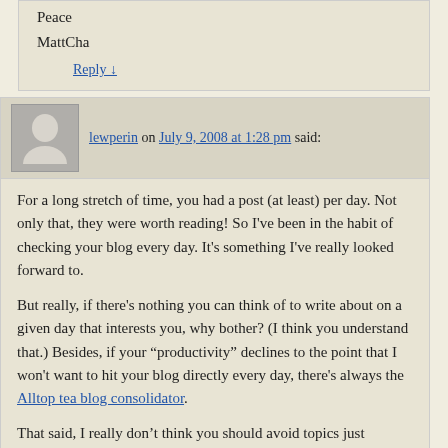Peace
MattCha
Reply ↓
lewperin on July 9, 2008 at 1:28 pm said:
For a long stretch of time, you had a post (at least) per day. Not only that, they were worth reading! So I've been in the habit of checking your blog every day. It's something I've really looked forward to.
But really, if there's nothing you can think of to write about on a given day that interests you, why bother? (I think you understand that.) Besides, if your “productivity” declines to the point that I won't want to hit your blog directly every day, there's always the Alltop tea blog consolidator.
That said, I really don’t think you should avoid topics just because you think most of your readers won’t be able to experience them in person. To my way of looking at things, you have it backwards there. Given a choice, I prefer to spend my time learning about things I haven’t encountered rather than reading yet another take on